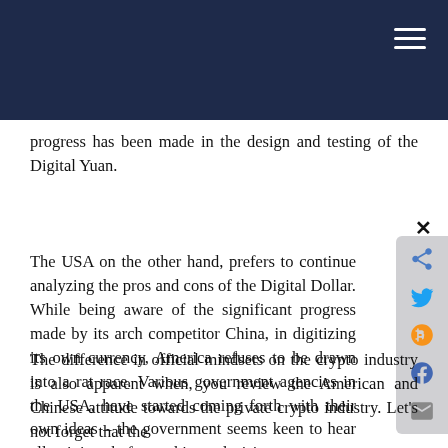progress has been made in the design and testing of the Digital Yuan.
The USA on the other hand, prefers to continue analyzing the pros and cons of the Digital Dollar. While being aware of the significant progress made by its arch competitor China, in digitizing its own currency, America refuses to be drawn into a rat race. Various government agencies in the USA, have started coming forth with their own ideas – the government seems keen to hear all opinions before, taking a decision.
The difference in official mindsets on the crypto industry is also apparent when, you review the American and Chinese attitude towards the private crypto industry. Let's not forget that the